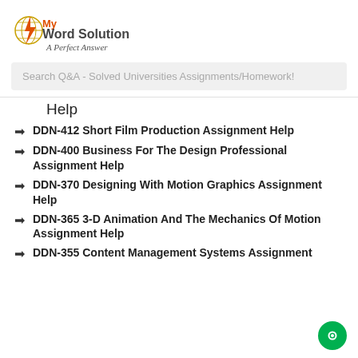[Figure (logo): MyWord Solution logo with lightning bolt and globe icon, orange and black text, tagline 'A Perfect Answer' in italic]
Search Q&A - Solved Universities Assignments/Homework!
Help
DDN-412 Short Film Production Assignment Help
DDN-400 Business For The Design Professional Assignment Help
DDN-370 Designing With Motion Graphics Assignment Help
DDN-365 3-D Animation And The Mechanics Of Motion Assignment Help
DDN-355 Content Management Systems Assignment Help